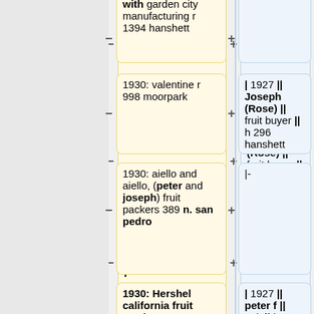with garden city manufacturing r 1394 hanshett
1930: valentine r 998 moorpark
| 1927 || Joseph (Rose) || fruit buyer || h 296 hanshett
1930: aiello and aiello, (peter and joseph) fruit packers 389 n. san pedro
|-
1930: Hershel california fruit products aaron hershel general manager packers of contadina pacific star
| 1927 || peter f || stdt || h moorpark cor race